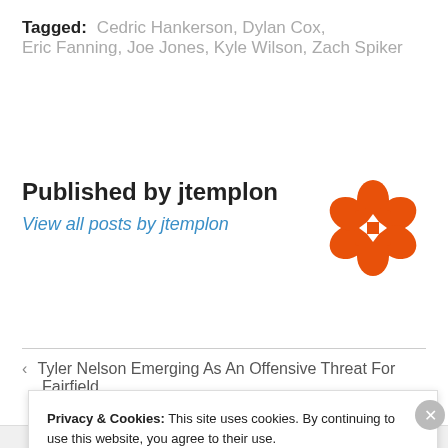Tagged: Cedric Hankerson, Dylan Cox, Eric Fanning, Joe Jones, Kyle Wilson, Zach Spiker
Published by jtemplon
View all posts by jtemplon
[Figure (logo): Orange stylized compass/crosshair logo for jtemplon]
‹ Tyler Nelson Emerging As An Offensive Threat For Fairfield
Privacy & Cookies: This site uses cookies. By continuing to use this website, you agree to their use. To find out more, including how to control cookies, see here: Cookie Policy
Close and accept